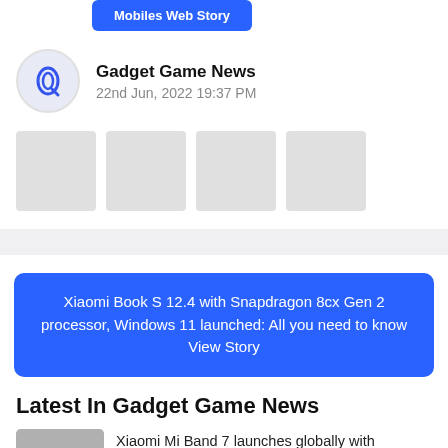[Figure (other): Blue button labeled 'Mobiles Web Story']
Gadget Game News
22nd Jun, 2022 19:37 PM
[Figure (other): Four gray placeholder thumbnail boxes]
[Figure (other): Blue story banner: Xiaomi Book S 12.4 with Snapdragon 8cx Gen 2 processor, Windows 11 launched: All you need to know View Story]
Latest In Gadget Game News
Xiaomi Mi Band 7 launches globally with